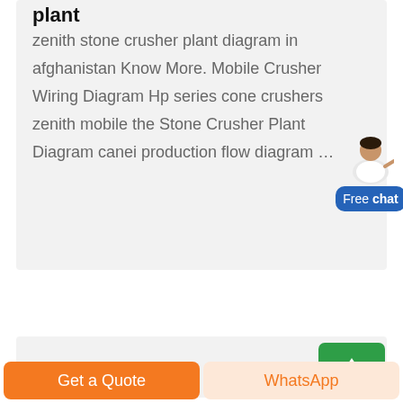plant
zenith stone crusher plant diagram in afghanistan Know More. Mobile Crusher Wiring Diagram Hp series cone crushers zenith mobile the Stone Crusher Plant Diagram canei production flow diagram …
[Figure (illustration): Chat widget with avatar (person in white) and blue rounded button labeled 'Free chat']
[Figure (illustration): Green square scroll-to-top button with white upward arrow]
Get a Quote
WhatsApp